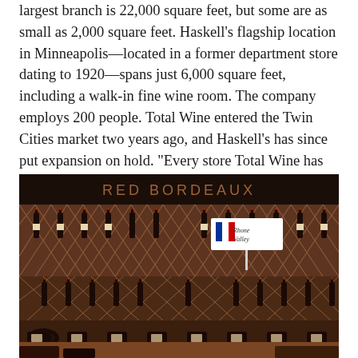largest branch is 22,000 square feet, but some are as small as 2,000 square feet. Haskell’s flagship location in Minneapolis—located in a former department store dating to 1920—spans just 6,000 square feet, including a walk-in fine wine room. The company employs 200 people. Total Wine entered the Twin Cities market two years ago, and Haskell’s has since put expansion on hold. “Every store Total Wine has opened here has been near one of my existing locations,” Jack says. “I feel like I have a target on my back.”
[Figure (photo): Interior of a wine store showing wooden diamond lattice wine racks filled with bottles of red wine. A sign reading 'RED BORDEAUX' appears on the wall above. A 'Rhone Valley' sign is visible with a French flag illustration. Wine bottles are also displayed horizontally in the foreground.]